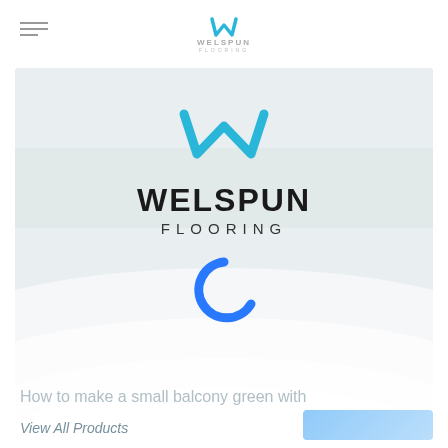[Figure (logo): Welspun Flooring logo small in nav bar - teal W mark with WELSPUN FLOORING text]
[Figure (screenshot): Welspun Flooring webpage screenshot showing large Welspun Flooring logo centered on a light grey/white curved floor background, with a blue loading spinner (C shape) below the logo]
How to make a small balcony green with
View All Products